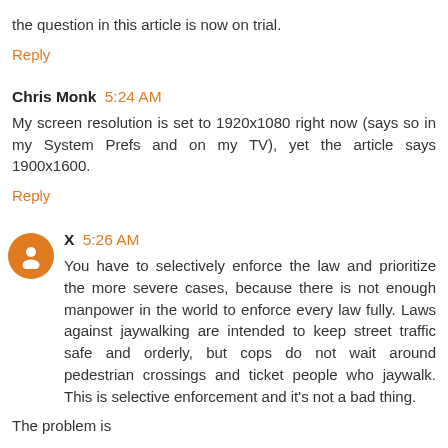the question in this article is now on trial.
Reply
Chris Monk 5:24 AM
My screen resolution is set to 1920x1080 right now (says so in my System Prefs and on my TV), yet the article says 1900x1600.
Reply
X 5:26 AM
You have to selectively enforce the law and prioritize the more severe cases, because there is not enough manpower in the world to enforce every law fully. Laws against jaywalking are intended to keep street traffic safe and orderly, but cops do not wait around pedestrian crossings and ticket people who jaywalk. This is selective enforcement and it's not a bad thing.
The problem is...